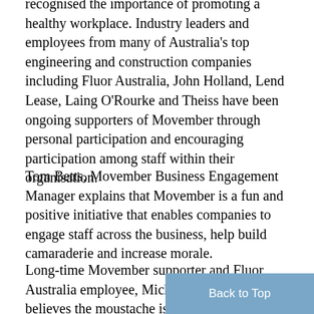recognised the importance of promoting a healthy workplace. Industry leaders and employees from many of Australia's top engineering and construction companies including Fluor Australia, John Holland, Lend Lease, Laing O'Rourke and Theiss have been ongoing supporters of Movember through personal participation and encouraging participation among staff within their organisation.
Tom Betts, Movember Business Engagement Manager explains that Movember is a fun and positive initiative that enables companies to engage staff across the business, help build camaraderie and increase morale.
Long-time Movember supporter and Fluor Australia employee, Michael Henderson believes the moustache is more than just a fashion statement. Observing how his office always looks forward to